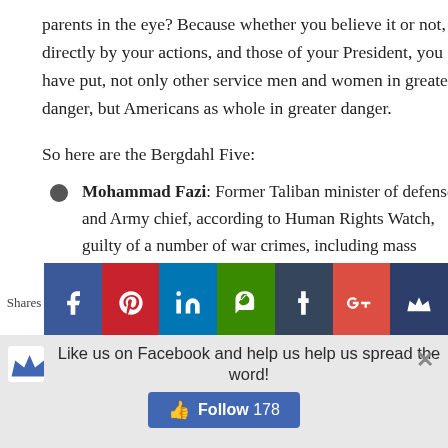parents in the eye? Because whether you believe it or not, directly by your actions, and those of your President, you have put, not only other service men and women in greater danger, but Americans as whole in greater danger.
So here are the Bergdahl Five:
Mohammad Fazi: Former Taliban minister of defense, and Army chief, according to Human Rights Watch, guilty of a number of war crimes, including mass killings.
Mullah Norullah Noori: A senior commander of the Taliban and Governor of the Balkh and Laghamn
[Figure (screenshot): Social sharing bar with icons for Facebook, Pinterest, LinkedIn, Evernote, Tumblr, Google+, and a crown icon. 'Shares' label on the left.]
[Figure (screenshot): Facebook follow bar at the bottom: crown icon, text 'Like us on Facebook and help us help us spread the word!', close button (x), and a blue 'Follow 178' button.]